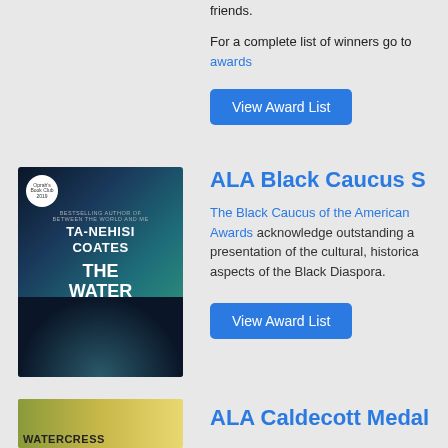friends.
For a complete list of winners go to awards
View Award List
[Figure (illustration): Book cover of The Water Dancer by Ta-Nehisi Coates, showing a dark underwater scene with a figure and swirling water, blue-green tones]
ALA Black Caucus S
The Black Caucus of the American Awards acknowledge outstanding a presentation of the cultural, historica aspects of the Black Diaspora.
View Award List
[Figure (illustration): Book cover of Watercress, showing a golden-yellow illustrated scene]
ALA Caldecott Medal